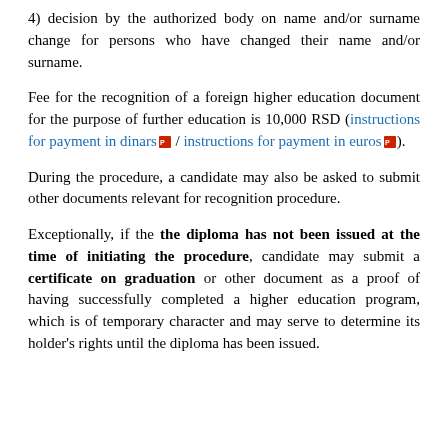4) decision by the authorized body on name and/or surname change for persons who have changed their name and/or surname.
Fee for the recognition of a foreign higher education document for the purpose of further education is 10,000 RSD (instructions for payment in dinars / instructions for payment in euros).
During the procedure, a candidate may also be asked to submit other documents relevant for recognition procedure.
Exceptionally, if the the diploma has not been issued at the time of initiating the procedure, candidate may submit a certificate on graduation or other document as a proof of having successfully completed a higher education program, which is of temporary character and may serve to determine its holder's rights until the diploma has been issued.